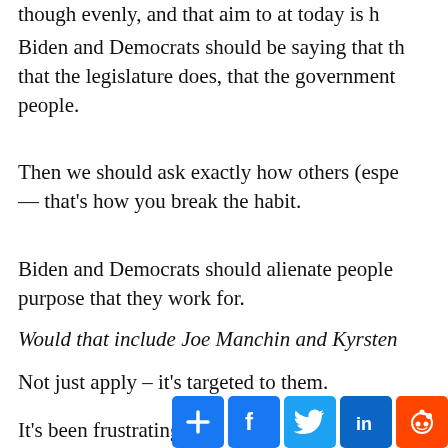though evenly, and that aim to at today is h
Biden and Democrats should be saying that th that the legislature does, that the government people.
Then we should ask exactly how others (espe — that's how you break the habit.
Biden and Democrats should alienate people purpose that they work for.
Would that include Joe Manchin and Kyrsten
Not just apply – it's targeted to them.
It's been frustrating to w
[Figure (infographic): Social media share buttons: AddThis (+), Facebook (f), Twitter bird, LinkedIn (in), Reddit alien icon]